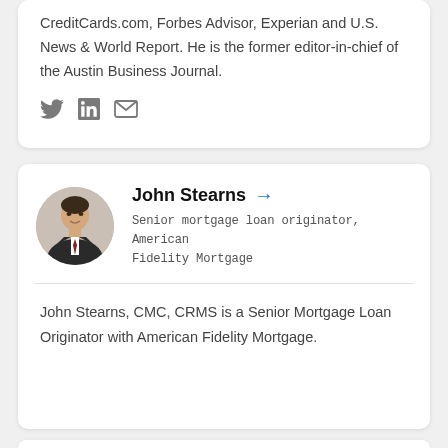CreditCards.com, Forbes Advisor, Experian and U.S. News & World Report. He is the former editor-in-chief of the Austin Business Journal.
[Figure (other): Social media icons: Twitter bird, LinkedIn 'in', envelope/email icon]
[Figure (photo): Headshot of John Stearns, a man in a suit and tie, smiling, circular crop]
John Stearns
Senior mortgage loan originator, American Fidelity Mortgage
John Stearns, CMC, CRMS is a Senior Mortgage Loan Originator with American Fidelity Mortgage.